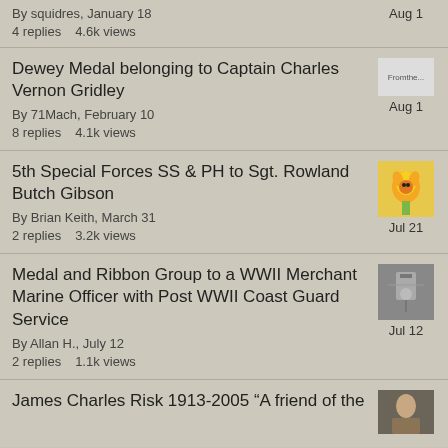By squidres, January 18
4 replies    4.6k views
Aug 1
Dewey Medal belonging to Captain Charles Vernon Gridley
By 71Mach, February 10
8 replies    4.1k views
Aug 1
5th Special Forces SS & PH to Sgt. Rowland Butch Gibson
By Brian Keith, March 31
2 replies    3.2k views
Jul 21
Medal and Ribbon Group to a WWII Merchant Marine Officer with Post WWII Coast Guard Service
By Allan H., July 12
2 replies    1.1k views
Jul 12
James Charles Risk 1913-2005 "A friend of the